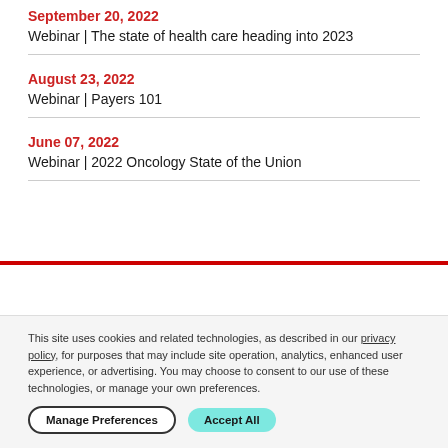September 20, 2022
Webinar | The state of health care heading into 2023
August 23, 2022
Webinar | Payers 101
June 07, 2022
Webinar | 2022 Oncology State of the Union
This site uses cookies and related technologies, as described in our privacy policy, for purposes that may include site operation, analytics, enhanced user experience, or advertising. You may choose to consent to our use of these technologies, or manage your own preferences.
Manage Preferences
Accept All